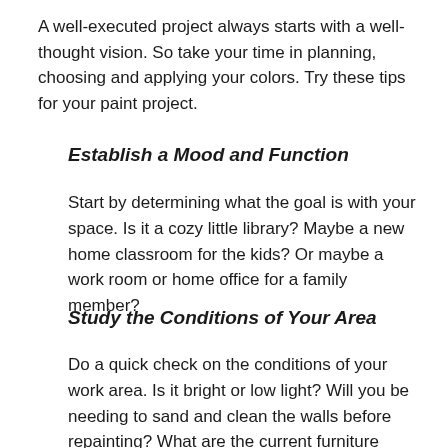A well-executed project always starts with a well-thought vision. So take your time in planning, choosing and applying your colors. Try these tips for your paint project.
Establish a Mood and Function
Start by determining what the goal is with your space. Is it a cozy little library? Maybe a new home classroom for the kids? Or maybe a work room or home office for a family member?
Study the Conditions of Your Area
Do a quick check on the conditions of your work area. Is it bright or low light? Will you be needing to sand and clean the walls before repainting? What are the current furniture pieces that you'll be working with? These elements, along with your mood and function, help narrow down a look for your space, as well as help you determine the right